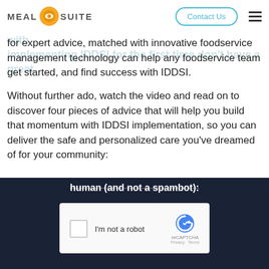[Figure (logo): Meal Suite logo: MEAL text, orange circular icon, SUITE text]
That's why the National Dysphagia Diet report that many foodservice teams faced with implementing IDDSI for the first time don't have a great foundation, for expert advice, matched with innovative foodservice management technology can help any foodservice team get started, and find success with IDDSI.
Without further ado, watch the video and read on to discover four pieces of advice that will help you build that momentum with IDDSI implementation, so you can deliver the safe and personalized care you've dreamed of for your community:
[Figure (screenshot): reCAPTCHA widget on dark navy background showing 'human (and not a spambot):' text, checkbox labeled I'm not a robot, and reCAPTCHA branding with Privacy and Terms links]